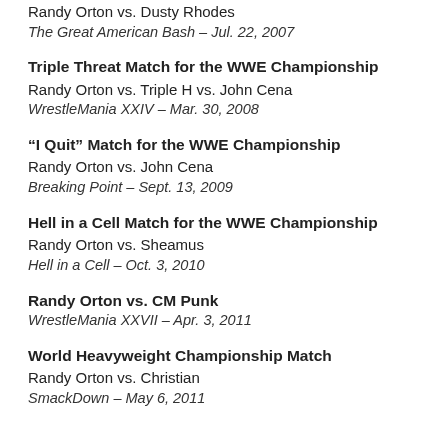Randy Orton vs. Dusty Rhodes
The Great American Bash – Jul. 22, 2007
Triple Threat Match for the WWE Championship
Randy Orton vs. Triple H vs. John Cena
WrestleMania XXIV – Mar. 30, 2008
“I Quit” Match for the WWE Championship
Randy Orton vs. John Cena
Breaking Point – Sept. 13, 2009
Hell in a Cell Match for the WWE Championship
Randy Orton vs. Sheamus
Hell in a Cell – Oct. 3, 2010
Randy Orton vs. CM Punk
WrestleMania XXVII – Apr. 3, 2011
World Heavyweight Championship Match
Randy Orton vs. Christian
SmackDown – May 6, 2011